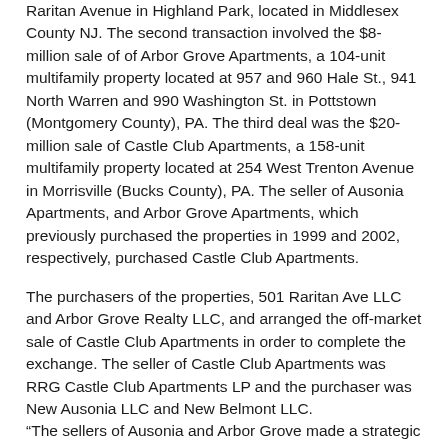Raritan Avenue in Highland Park, located in Middlesex County NJ. The second transaction involved the $8-million sale of of Arbor Grove Apartments, a 104-unit multifamily property located at 957 and 960 Hale St., 941 North Warren and 990 Washington St. in Pottstown (Montgomery County), PA. The third deal was the $20-million sale of Castle Club Apartments, a 158-unit multifamily property located at 254 West Trenton Avenue in Morrisville (Bucks County), PA. The seller of Ausonia Apartments, and Arbor Grove Apartments, which previously purchased the properties in 1999 and 2002, respectively, purchased Castle Club Apartments.
The purchasers of the properties, 501 Raritan Ave LLC and Arbor Grove Realty LLC, and arranged the off-market sale of Castle Club Apartments in order to complete the exchange. The seller of Castle Club Apartments was RRG Castle Club Apartments LP and the purchaser was New Ausonia LLC and New Belmont LLC.
“The sellers of Ausonia and Arbor Grove made a strategic decision to market the properties with us on an exclusive basis, subject to an exchange. Concurrently with our marketing process, we initiated negotiations to secure a direct